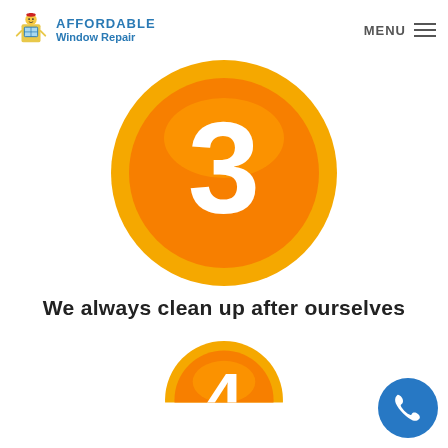AFFORDABLE Window Repair | MENU
[Figure (illustration): Orange circular badge with the number 3 in white, featuring a golden outer ring]
We always clean up after ourselves
[Figure (illustration): Orange circular badge with the number 4 in white, partially visible at bottom, featuring a golden outer ring]
[Figure (illustration): Blue circular phone/call button in bottom right corner]